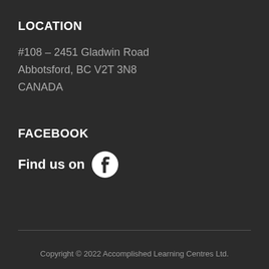LOCATION
#108 – 2451 Gladwin Road
Abbotsford, BC V2T 3N8
CANADA
FACEBOOK
Find us on
[Figure (logo): Facebook icon — white 'f' on black circle]
Copyright © 2022 Accomplished Learning Centres Ltd.